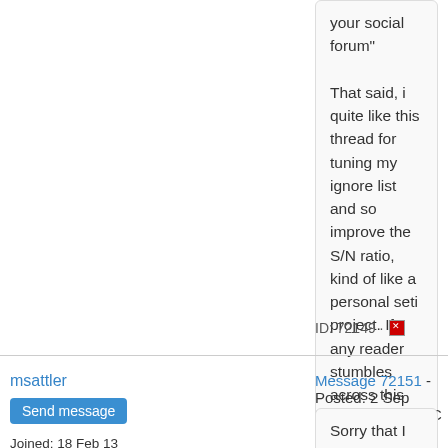your social forum"

That said, i quite like this thread for tuning my ignore list and so improve the S/N ratio, kind of like a personal seti project. If any reader stumbles across this thread and would like to try ignoring please go to here and use 42295 as my ID. Other IDs are easy to find, just hover over a name.
ID: 72149 ·
msattler
Send message
Joined: 18 Feb 13
Posts: 1568
Message 72151 - Posted: 2 Sep 2016, 7:59:28 UTC
Sorry that I have been the cause of so much angst over the years. My life is a work in progress, and shall probably be until I pass.
Hope I can make some amends before that happens.

Moow